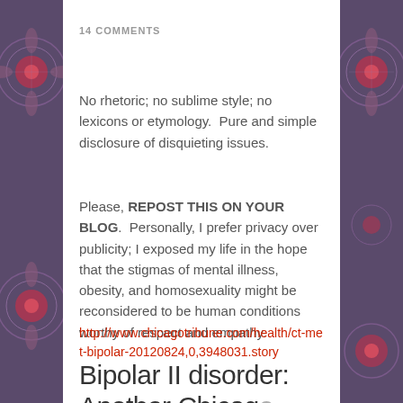14 COMMENTS
No rhetoric; no sublime style; no lexicons or etymology.  Pure and simple disclosure of disquieting issues.
Please, REPOST THIS ON YOUR BLOG.  Personally, I prefer privacy over publicity; I exposed my life in the hope that the stigmas of mental illness, obesity, and homosexuality might be reconsidered to be human conditions worthy of respect and empathy.
http://www.chicagotribune.com/health/ct-met-bipolar-20120824,0,3948031.story
Bipolar II disorder: Another Chicag...